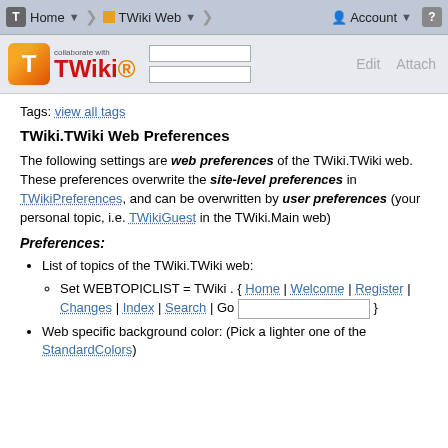T | Home ▼ | TWiki Web ▼ | Account ▼ | ?
[Figure (logo): TWiki logo with orange T icon, 'collaborate with TWiki' text in red, search input boxes, Edit and Attach buttons]
Tags: view all tags
TWiki.TWiki Web Preferences
The following settings are web preferences of the TWiki.TWiki web. These preferences overwrite the site-level preferences in TWikiPreferences, and can be overwritten by user preferences (your personal topic, i.e. TWikiGuest in the TWiki.Main web)
Preferences:
List of topics of the TWiki.TWiki web:
Set WEBTOPICLIST = TWiki . { Home | Welcome | Register | Changes | Index | Search | Go [input] }
Web specific background color: (Pick a lighter one of the StandardColors)